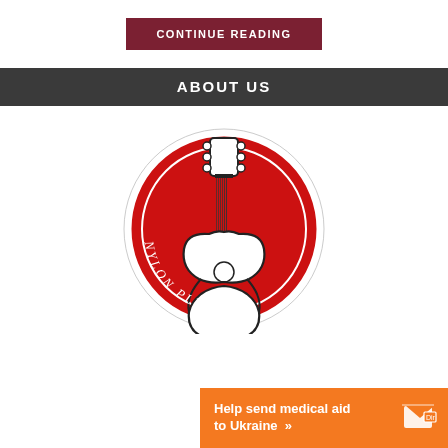CONTINUE READING
ABOUT US
[Figure (logo): Nylon Plucks logo: circular red background with a guitar headstock and body in the center, text 'NYLON PLUCKS' around the circle]
Help send medical aid to Ukraine >>